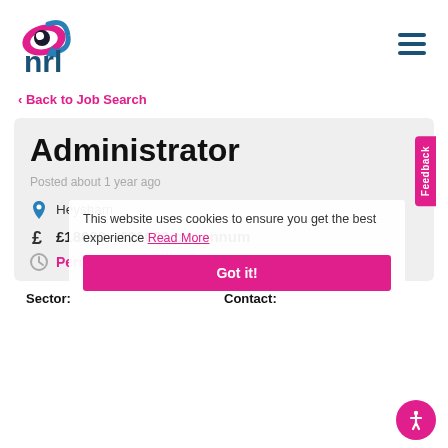[Figure (logo): NRL recruitment company logo with teal arrow icon and pink/black swoosh]
Back to Job Search
Administrator
Posted about 1 year ago
This website uses cookies to ensure you get the best experience Read More
Heysham
£18000 - £21000 per annum
Permanent
Got it!
Sector:
Contact: